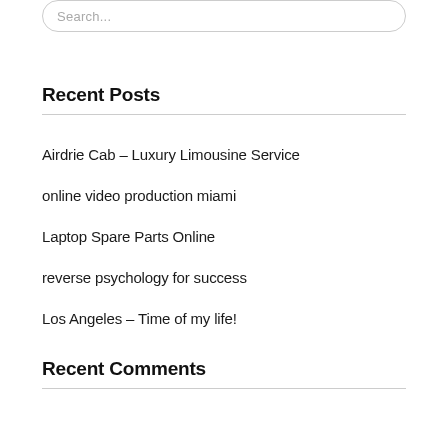Search...
Recent Posts
Airdrie Cab – Luxury Limousine Service
online video production miami
Laptop Spare Parts Online
reverse psychology for success
Los Angeles – Time of my life!
Recent Comments